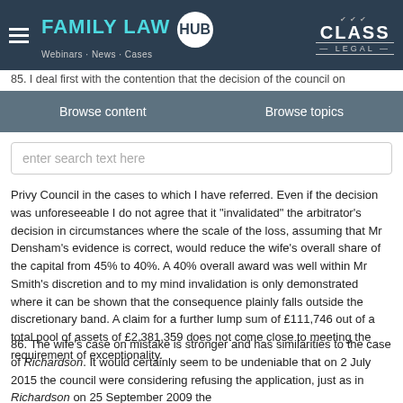FAMILY LAW HUB — Webinars · News · Cases | CLASS LEGAL
85. I deal first with the contention that the decision of the council on
Browse content    Browse topics
enter search text here
Privy Council in the cases to which I have referred. Even if the decision was unforeseeable I do not agree that it "invalidated" the arbitrator's decision in circumstances where the scale of the loss, assuming that Mr Densham's evidence is correct, would reduce the wife's overall share of the capital from 45% to 40%. A 40% overall award was well within Mr Smith's discretion and to my mind invalidation is only demonstrated where it can be shown that the consequence plainly falls outside the discretionary band. A claim for a further lump sum of £111,746 out of a total pool of assets of £2,381,359 does not come close to meeting the requirement of exceptionality.
86. The wife's case on mistake is stronger and has similarities to the case of Richardson. It would certainly seem to be undeniable that on 2 July 2015 the council were considering refusing the application, just as in Richardson on 25 September 2009 the